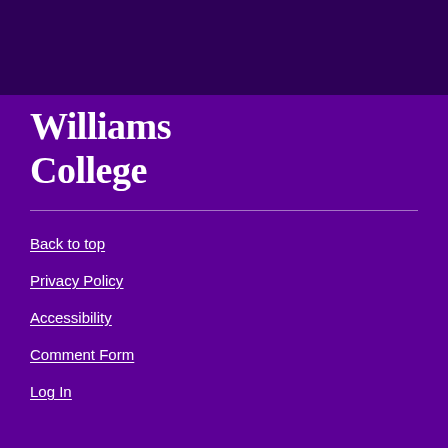Williams College
Back to top
Privacy Policy
Accessibility
Comment Form
Log In